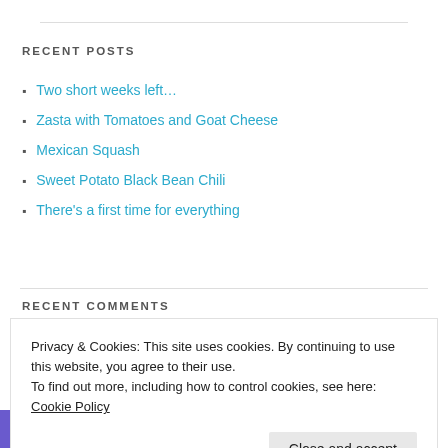RECENT POSTS
Two short weeks left…
Zasta with Tomatoes and Goat Cheese
Mexican Squash
Sweet Potato Black Bean Chili
There's a first time for everything
RECENT COMMENTS
Privacy & Cookies: This site uses cookies. By continuing to use this website, you agree to their use.
To find out more, including how to control cookies, see here: Cookie Policy
Everyday Sarah Jane on Sweet Potato Black Bean Chili